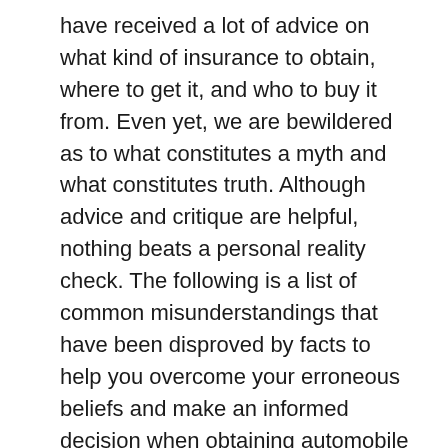have received a lot of advice on what kind of insurance to obtain, where to get it, and who to buy it from. Even yet, we are bewildered as to what constitutes a myth and what constitutes truth. Although advice and critique are helpful, nothing beats a personal reality check. The following is a list of common misunderstandings that have been disproved by facts to help you overcome your erroneous beliefs and make an informed decision when obtaining automobile insurance.
Premiums Are Affected By The Colour Of Your Car
This is an urban legend that is neither true nor significant. Premiums are established by the vehicle's configuration, engine capacity, and body; the color of the car has no bearing. As a